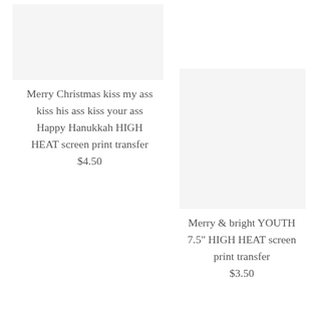[Figure (photo): Product image placeholder — light gray rectangle, top left]
Merry Christmas kiss my ass kiss his ass kiss your ass Happy Hanukkah HIGH HEAT screen print transfer
$4.50
[Figure (photo): Product image placeholder — light gray rectangle, right side]
Merry & bright YOUTH 7.5" HIGH HEAT screen print transfer
$3.50